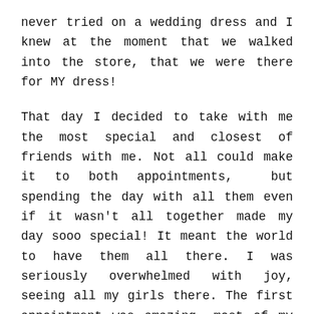never tried on a wedding dress and I knew at the moment that we walked into the store, that we were there for MY dress!
That day I decided to take with me the most special and closest of friends with me. Not all could make it to both appointments, but spending the day with all them even if it wasn't all together made my day sooo special! It meant the world to have them all there. I was seriously overwhelmed with joy, seeing all my girls there. The first appointment was amazing, most of my girls made it to this appointment with the exception of a couple and it was the start of a very special two hours.
The appointment started in the cutest little 'tea